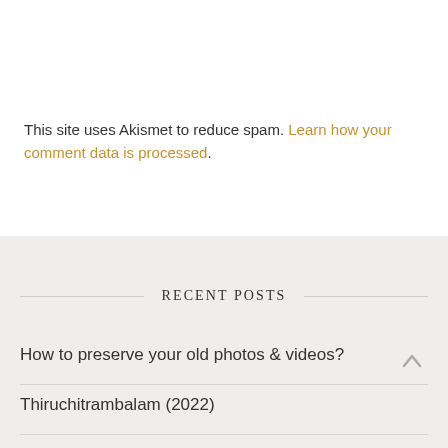This site uses Akismet to reduce spam. Learn how your comment data is processed.
RECENT POSTS
How to preserve your old photos & videos?
Thiruchitrambalam (2022)